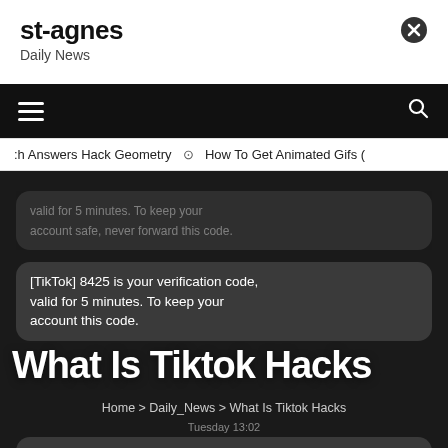st-agnes
Daily News
≡   🔍
:h Answers Hack Geometry ⊙ How To Get Animated Gifs (
[Figure (screenshot): Dark chat/SMS screenshot showing TikTok verification code messages overlaid with the title 'What Is Tiktok Hacks' and breadcrumb navigation, plus a download message with a link.]
What Is Tiktok Hacks
Home > Daily_News > What Is Tiktok Hacks